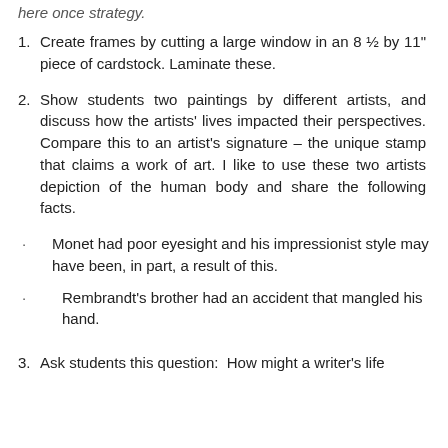here once strategy.
1.    Create frames by cutting a large window in an 8 ½ by 11" piece of cardstock. Laminate these.
2.      Show students two paintings by different artists, and discuss how the artists' lives impacted their perspectives. Compare this to an artist's signature – the unique stamp that claims a work of art. I like to use these two artists depiction of the human body and share the following facts.
·      Monet had poor eyesight and his impressionist style may have been, in part, a result of this.
·        Rembrandt's brother had an accident that mangled his hand.
3.    Ask students this question:  How might a writer's life